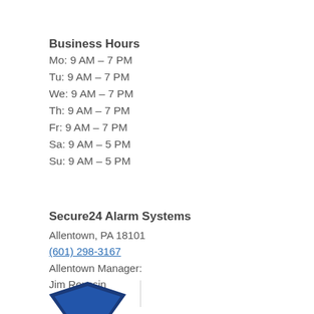Business Hours
Mo: 9 AM – 7 PM
Tu: 9 AM – 7 PM
We: 9 AM – 7 PM
Th: 9 AM – 7 PM
Fr: 9 AM – 7 PM
Sa: 9 AM – 5 PM
Su: 9 AM – 5 PM
Secure24 Alarm Systems
Allentown, PA 18101
(601) 298-3167
Allentown Manager:
Jim Roussin
[Figure (logo): Secure24 Alarm Systems logo — blue shield shape, partially visible at bottom of page]